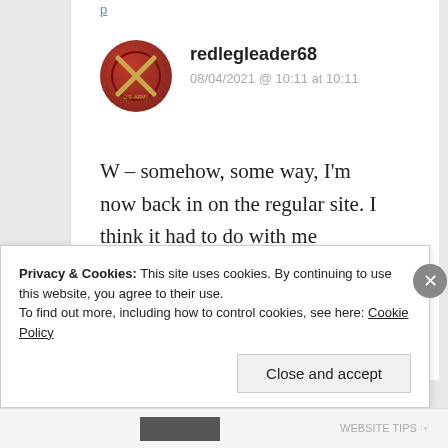redlegleader68
08/04/2021 @ 10:11 at 10:11
W – somehow, some way, I'm now back in on the regular site. I think it had to do with me closing everything down and then restarting and
Privacy & Cookies: This site uses cookies. By continuing to use this website, you agree to their use. To find out more, including how to control cookies, see here: Cookie Policy
Close and accept